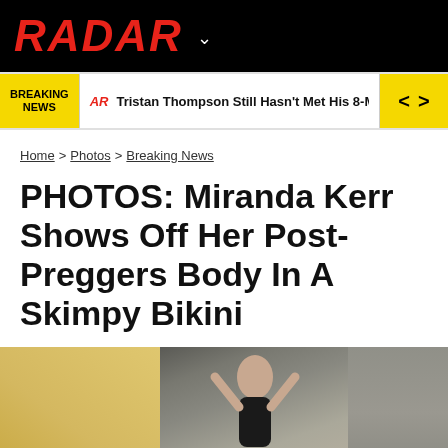RADAR
BREAKING NEWS | AR Tristan Thompson Still Hasn't Met His 8-Month-Old Son T
Home > Photos > Breaking News
PHOTOS: Miranda Kerr Shows Off Her Post-Preggers Body In A Skimpy Bikini
[Figure (photo): Woman in black bikini at a beach/rocky location, partial photo showing torso and arms raised]